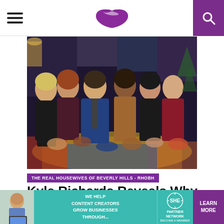Navigation bar with hamburger menu, gossip lips logo, and search icon
[Figure (photo): Group photo of six women and one man seated together on a colorful set, appearing to be from a TV show (Watch What Happens Live). The man in the center wears a blue suit; the women wear various outfits including black, burgundy, and red sequined dresses.]
THE REAL HOUSEWIVES OF BEVERLY HILLS - RHOBH
Kyle Richards Reveals Why She Didn't Attend Teresa Giudice's Wedding Plus
[Figure (infographic): Advertisement banner: 'WE HELP CONTENT CREATORS GROW BUSINESSES THROUGH...' with SHE PARTNER NETWORK logo and 'LEARN MORE' purple button]